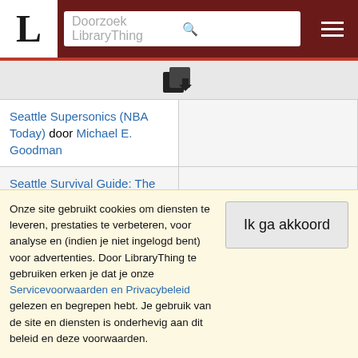Doorzoek LibraryThing
| Book |  |
| --- | --- |
| Seattle Supersonics (NBA Today) door Michael E. Goodman |  |
| Seattle Survival Guide: The Essential Handbook for Seattle and Eastside Living door Eric Lucas |  |
| Seattle Survival Guide: The Essential Handbook for Urban Living door Theresa Morrow |  |
Onze site gebruikt cookies om diensten te leveren, prestaties te verbeteren, voor analyse en (indien je niet ingelogd bent) voor advertenties. Door LibraryThing te gebruiken erken je dat je onze Servicevoorwaarden en Privacybeleid gelezen en begrepen hebt. Je gebruik van de site en diensten is onderhevig aan dit beleid en deze voorwaarden.